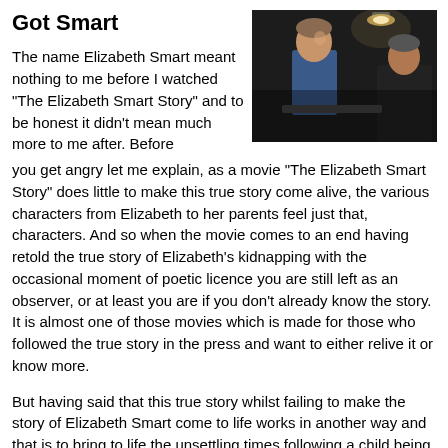Got Smart
[Figure (photo): A dark scene showing two people in what appears to be a dimly lit interrogation or conversation setting, with a light fixture visible above.]
The name Elizabeth Smart meant nothing to me before I watched "The Elizabeth Smart Story" and to be honest it didn't mean much more to me after. Before you get angry let me explain, as a movie "The Elizabeth Smart Story" does little to make this true story come alive, the various characters from Elizabeth to her parents feel just that, characters. And so when the movie comes to an end having retold the true story of Elizabeth's kidnapping with the occasional moment of poetic licence you are still left as an observer, or at least you are if you don't already know the story. It is almost one of those movies which is made for those who followed the true story in the press and want to either relive it or know more.
But having said that this true story whilst failing to make the story of Elizabeth Smart come to life works in another way and that is to bring to life the unsettling times following a child being taken. It is a sad thing that this sort of thing happens and when ever it does it garners a lot of media